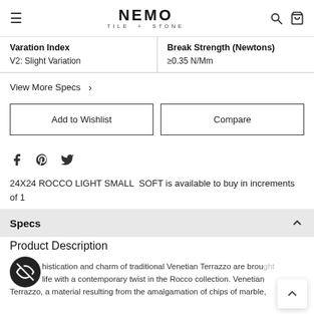≡  NEMO TILE + STONE  🔍 🛒
| Varation Index | Break Strength (Newtons) |
| --- | --- |
| V2: Slight Variation | ≥0.35 N/Mm |
View More Specs >
Add to Wishlist
Compare
24X24 ROCCO LIGHT SMALL  SOFT is available to buy in increments of 1
Specs
Product Description
The sophistication and charm of traditional Venetian Terrazzo are brought to life with a contemporary twist in the Rocco collection. Venetian Terrazzo, a material resulting from the amalgamation of chips of marble,